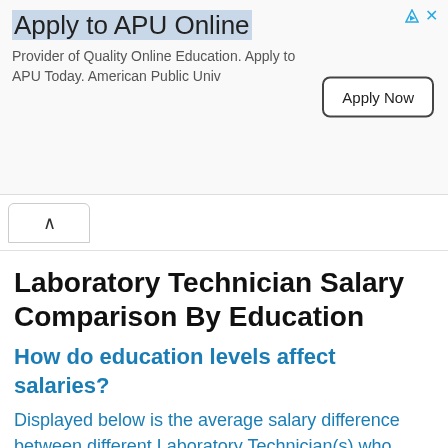[Figure (other): Advertisement banner for APU Online with 'Apply to APU Online' headline, subtitle 'Provider of Quality Online Education. Apply to APU Today. American Public Univ', and an 'Apply Now' button. Includes ad attribution icons.]
Laboratory Technician Salary Comparison By Education
How do education levels affect salaries?
Displayed below is the average salary difference between different Laboratory Technician(s) who have